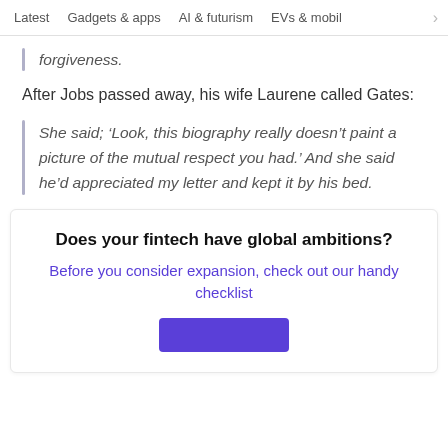Latest   Gadgets & apps   AI & futurism   EVs & mobil  >
forgiveness.
After Jobs passed away, his wife Laurene called Gates:
She said; ‘Look, this biography really doesn’t paint a picture of the mutual respect you had.’ And she said he’d appreciated my letter and kept it by his bed.
Does your fintech have global ambitions?
Before you consider expansion, check out our handy checklist